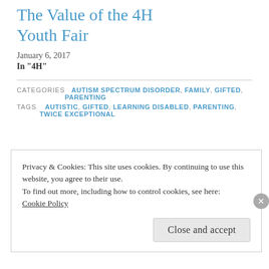The Value of the 4H Youth Fair
January 6, 2017
In "4H"
CATEGORIES  AUTISM SPECTRUM DISORDER , FAMILY , GIFTED , PARENTING
TAGS  AUTISTIC , GIFTED , LEARNING DISABLED , PARENTING , TWICE EXCEPTIONAL
Privacy & Cookies: This site uses cookies. By continuing to use this website, you agree to their use.
To find out more, including how to control cookies, see here: Cookie Policy
Close and accept